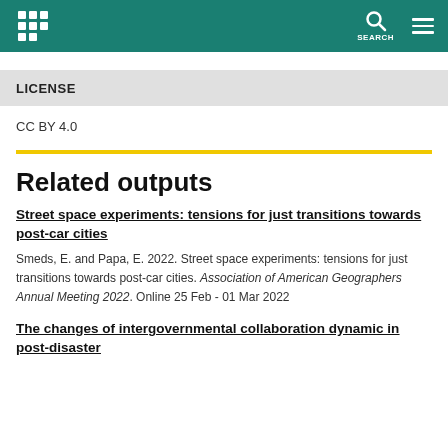SEARCH
LICENSE
CC BY 4.0
Related outputs
Street space experiments: tensions for just transitions towards post-car cities
Smeds, E. and Papa, E. 2022. Street space experiments: tensions for just transitions towards post-car cities. Association of American Geographers Annual Meeting 2022. Online 25 Feb - 01 Mar 2022
The changes of intergovernmental collaboration dynamic in post-disaster